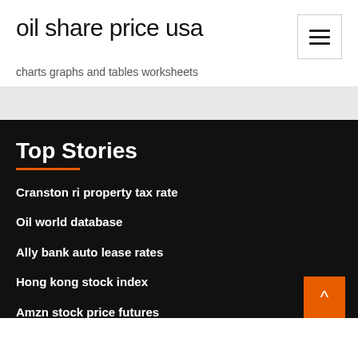oil share price usa
charts graphs and tables worksheets
Top Stories
Cranston ri property tax rate
Oil world database
Ally bank auto lease rates
Hong kong stock index
Amzn stock price futures